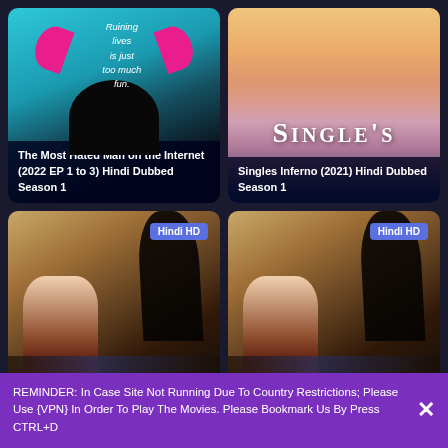[Figure (screenshot): Grid of 4 movie/show thumbnail cards on a dark background. Top-left: 'The Most Hated Man on the Internet (2022 EP 1 to 3) Hindi Dubbed Season 1' with teal background, pink horns, italic quote 'Ruining lives is just too much fun.' Top-right: 'Singles Inferno (2021) Hindi Dubbed Season 1' with beach/pool imagery. Bottom-left and bottom-right: Action movie cards with 'Hindi HD' badge and 'hotstar' branding.]
REMINDER: In Case Site Not Running Due To Country Restrictions; Please Use {VPN} In Order To Play The Movies. Please Bookmark Us By Press CTRL+D